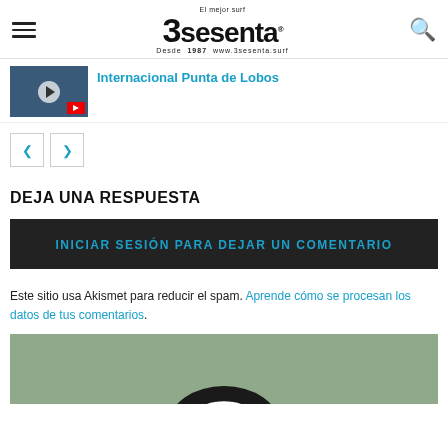3sesenta - El mejor surf - Desde 1987 www.3sesenta.surf
Internacional Punta de Lobos
[Figure (screenshot): Thumbnail with play button for video about Internacional Punta de Lobos]
< >
DEJA UNA RESPUESTA
INICIAR SESIÓN PARA DEJAR UN COMENTARIO
Este sitio usa Akismet para reducir el spam. Aprende cómo se procesan los datos de tus comentarios.
[Figure (photo): Partial view of a product photo on olive/sage green background, showing a dark circular object at the bottom]